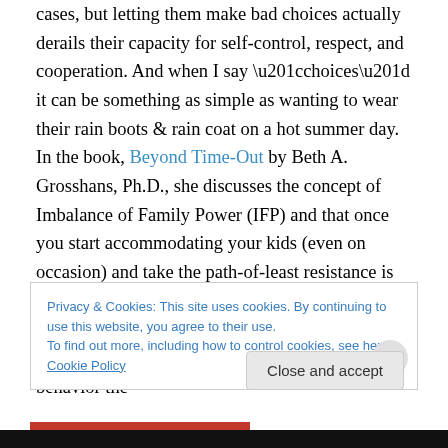cases, but letting them make bad choices actually derails their capacity for self-control, respect, and cooperation. And when I say “choices” it can be something as simple as wanting to wear their rain boots & rain coat on a hot summer day. In the book, Beyond Time-Out by Beth A. Grosshans, Ph.D., she discusses the concept of Imbalance of Family Power (IFP) and that once you start accommodating your kids (even on occasion) and take the path-of-least resistance is that it can lead to IFP. It is so true when she says “no one gives up the throne without a fight” because the more we enable bad behavior the
Privacy & Cookies: This site uses cookies. By continuing to use this website, you agree to their use.
To find out more, including how to control cookies, see here: Cookie Policy